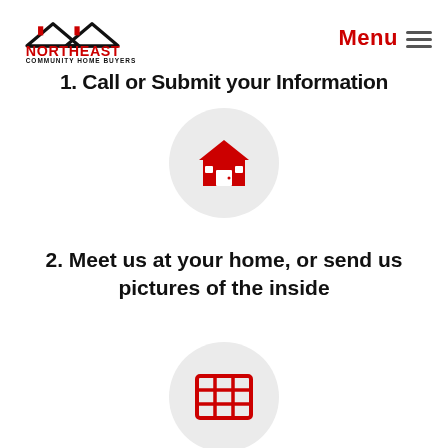[Figure (logo): Northeast Community Home Buyers logo with two house roof peaks and text]
Menu ≡
1. Call or Submit your Information
[Figure (illustration): Red house icon inside a light grey circle]
2. Meet us at your home, or send us pictures of the inside
[Figure (illustration): Red grid/table icon inside a light grey circle]